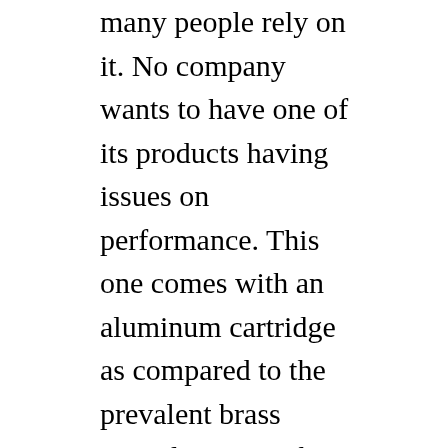many people rely on it. No company wants to have one of its products having issues on performance. This one comes with an aluminum cartridge as compared to the prevalent brass cartridge case. The model is also liked by many shooters thanks to the quality. You will be sure that in the end, you will have a great product. With such great performance, there is no doubt you will find yourself also opting to get it for yourself. Saving money on the ammo can be great, and it is the reason you will get more people opting for this product. The ammo is loaded with superior features that will deliver a blind barrier performance. These tests are important to see the kind of damage the ammo can deliver to the target when used at point blank. Combine it with your gun lights on the weapon, and you are good to go. You should now have ammo that can last for long without any problem. The additional crimped case will ensure that there is no bullet setback during the feeding process. For this model, you will find that it comes with full metal material for the jacket. With this new